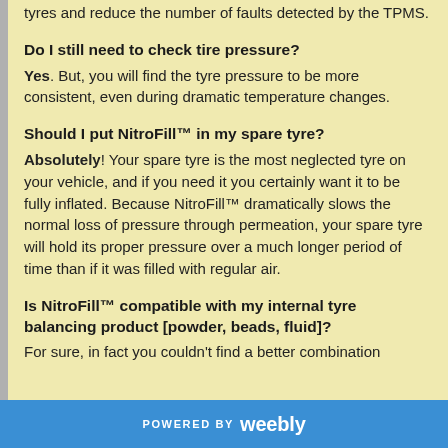tyres and reduce the number of faults detected by the TPMS.
Do I still need to check tire pressure?
Yes. But, you will find the tyre pressure to be more consistent, even during dramatic temperature changes.
Should I put NitroFill™ in my spare tyre?
Absolutely! Your spare tyre is the most neglected tyre on your vehicle, and if you need it you certainly want it to be fully inflated. Because NitroFill™ dramatically slows the normal loss of pressure through permeation, your spare tyre will hold its proper pressure over a much longer period of time than if it was filled with regular air.
Is NitroFill™ compatible with my internal tyre balancing product [powder, beads, fluid]?
For sure, in fact you couldn't find a better combination
POWERED BY weebly